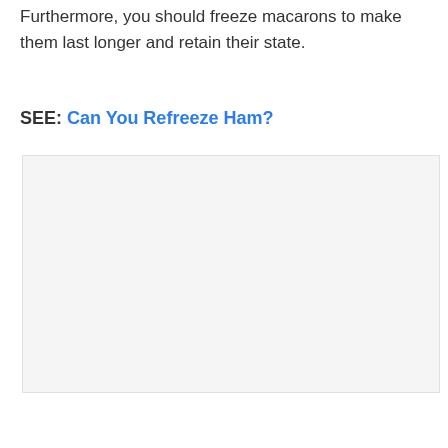Furthermore, you should freeze macarons to make them last longer and retain their state.
SEE: Can You Refreeze Ham?
[Figure (photo): A large light gray image placeholder box]